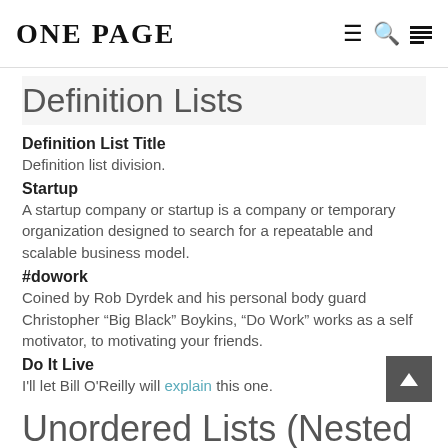ONE PAGE
Definition Lists
Definition List Title — Definition list division.
Startup — A startup company or startup is a company or temporary organization designed to search for a repeatable and scalable business model.
#dowork — Coined by Rob Dyrdek and his personal body guard Christopher "Big Black" Boykins, "Do Work" works as a self motivator, to motivating your friends.
Do It Live — I'll let Bill O'Reilly will explain this one.
Unordered Lists (Nested)